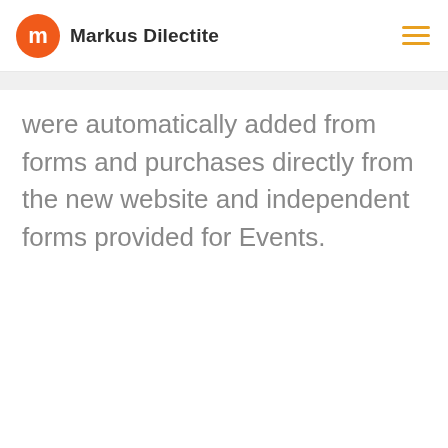Markus Dilectite
were automatically added from forms and purchases directly from the new website and independent forms provided for Events.